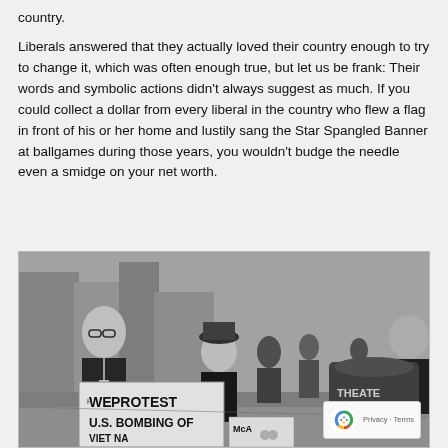country.
Liberals answered that they actually loved their country enough to try to change it, which was often enough true, but let us be frank: Their words and symbolic actions didn't always suggest as much. If you could collect a dollar from every liberal in the country who flew a flag in front of his or her home and lustily sang the Star Spangled Banner at ballgames during those years, you wouldn't budge the needle even a smidge on your net worth.
[Figure (photo): Black and white historical photograph of protesters on a city street. People hold signs reading 'WE PROTEST U.S. BOMBING OF' and 'McA...' (partially visible). A drum with 'THEATER' visible is in the background. The scene appears to be from the 1960s anti-war movement.]